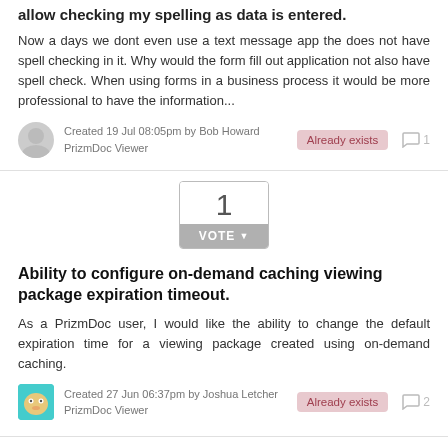allow checking my spelling as data is entered.
Now a days we dont even use a text message app the does not have spell checking in it. Why would the form fill out application not also have spell check. When using forms in a business process it would be more professional to have the information...
Created 19 Jul 08:05pm by Bob Howard
PrizmDoc Viewer
[Figure (infographic): Vote widget showing number 1 with a VOTE button below]
Ability to configure on-demand caching viewing package expiration timeout.
As a PrizmDoc user, I would like the ability to change the default expiration time for a viewing package created using on-demand caching.
Created 27 Jun 06:37pm by Joshua Letcher
PrizmDoc Viewer